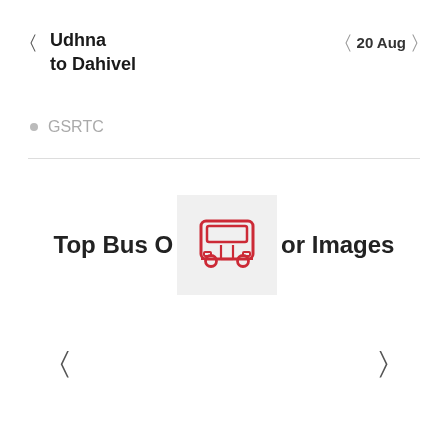Udhna to Dahivel
20 Aug
GSRTC
Top Bus Operator Images
[Figure (illustration): Red bus icon on light grey square background, centered between text segments]